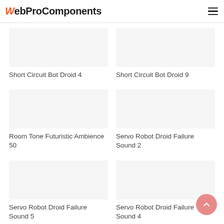WebProComponents
Short Circuit Bot Droid 4
Short Circuit Bot Droid 9
Room Tone Futuristic Ambience 50
Servo Robot Droid Failure Sound 2
Servo Robot Droid Failure Sound 5
Servo Robot Droid Failure Sound 4